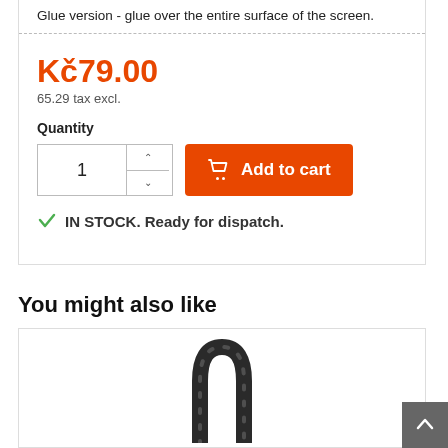Glue version - glue over the entire surface of the screen.
Kč79.00
65.29 tax excl.
Quantity
[Figure (screenshot): Add to cart button with quantity selector showing '1', and IN STOCK. Ready for dispatch. message with green checkmark.]
You might also like
[Figure (photo): Product image showing a U-shaped bike lock or similar accessory in dark/black color on white background.]